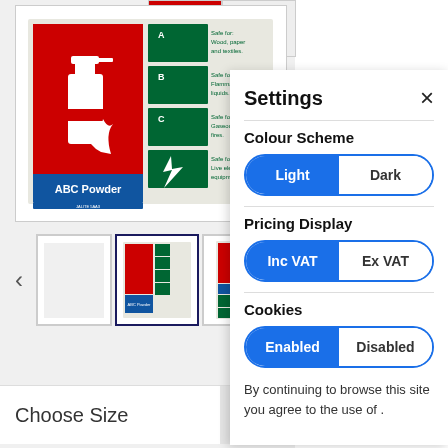[Figure (screenshot): Product page showing ABC Powder fire extinguisher identification signs with thumbnail images and Choose Size bar at bottom]
[Figure (screenshot): Settings panel overlay with Colour Scheme (Light/Dark), Pricing Display (Inc VAT/Ex VAT), and Cookies (Enabled/Disabled) toggle options]
Settings
Colour Scheme
Light  Dark
Pricing Display
Inc VAT  Ex VAT
Cookies
Enabled  Disabled
By continuing to browse this site you agree to the use of .
Choose Size